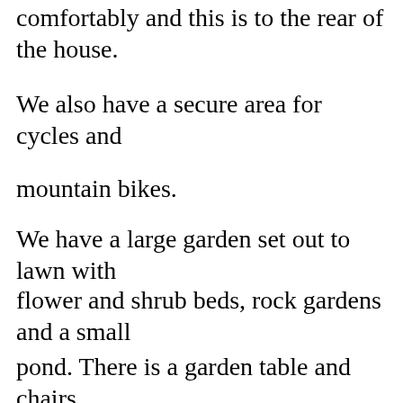comfortably and this is to the rear of the house.
We also have a secure area for cycles and mountain bikes.
We have a large garden set out to lawn with flower and shrub beds, rock gardens and a small pond. There is a garden table and chairs, ideal for relaxing and perhaps having a glass or two of wine.
and the...